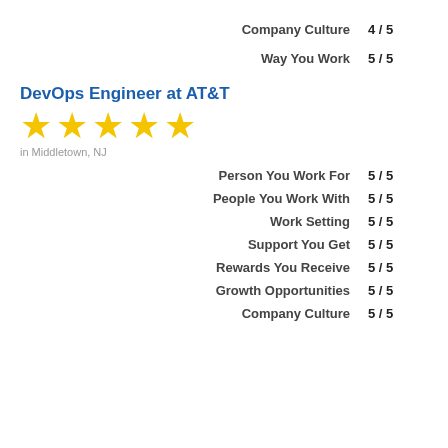Company Culture  4 / 5
Way You Work  5 / 5
DevOps Engineer at AT&T
[Figure (other): 5 gold stars rating]
in Middletown, NJ
Person You Work For  5 / 5
People You Work With  5 / 5
Work Setting  5 / 5
Support You Get  5 / 5
Rewards You Receive  5 / 5
Growth Opportunities  5 / 5
Company Culture  5 / 5